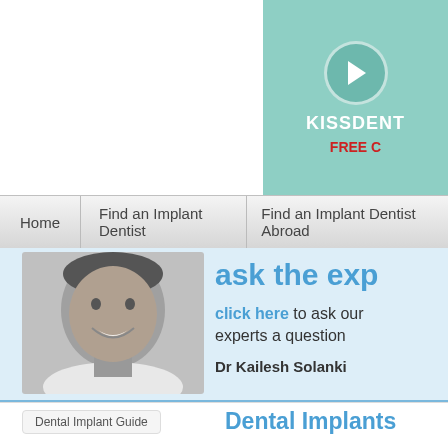[Figure (logo): dentaimplant website logo with dental implant icon between 'denta' and 'implant' text]
[Figure (infographic): KISSDENT advertisement banner in teal/mint green with circular logo and FREE offer text]
Home   Find an Implant Dentist   Find an Implant Dentist Abroad
[Figure (photo): Black and white photo of Dr Kailesh Solanki, a smiling male dentist]
ask the expert
click here to ask our experts a question
Dr Kailesh Solanki
Dental Implant Guide
Dental Implants